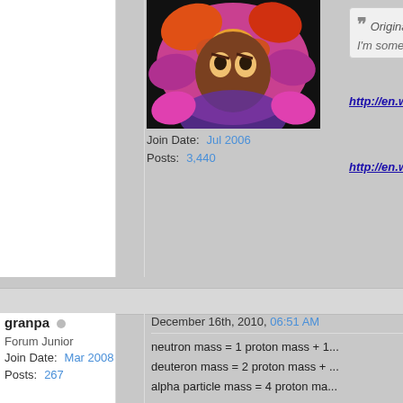[Figure (illustration): Forum user avatar - colorful fantasy creature illustration with orange, pink, and purple colors]
Join Date: Jul 2006
Posts: 3,440
Originally Post...
I'm somewhat un...
http://en.wikipedia.org/w...
http://en.wikipedia.org/wiki/There_...
granpa
Forum Junior
Join Date: Mar 2008
Posts: 267
December 16th, 2010, 06:51 AM
neutron mass = 1 proton mass + 1...
deuteron mass = 2 proton mass + ...
alpha particle mass = 4 proton ma...